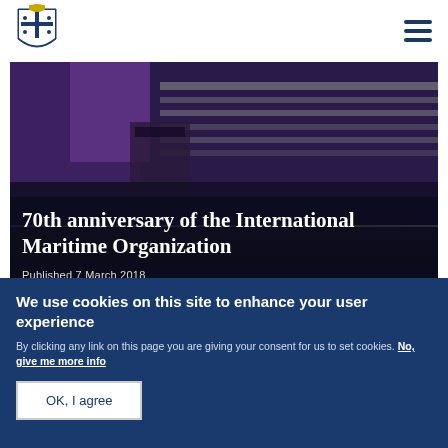IMO logo and navigation menu
70th anniversary of the International Maritime Organization
Published 7 March 2018
[Figure (photo): Photo of maritime event, persons in uniform at what appears to be a ship or maritime setting]
We use cookies on this site to enhance your user experience
By clicking any link on this page you are giving your consent for us to set cookies. No, give me more info
OK, I agree